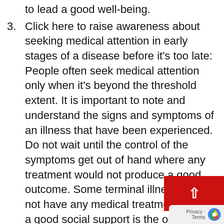to lead a good well-being.
3. Click here to raise awareness about seeking medical attention in early stages of a disease before it's too late: People often seek medical attention only when it's beyond the threshold extent. It is important to note and understand the signs and symptoms of an illness that have been experienced. Do not wait until the control of the symptoms get out of hand where any treatment would not produce a good outcome. Some terminal illness does not have any medical treatments, rather a good social support is the only remedy to enhance the quality of life and extend the lifespan a little longer. Therefore, it is always advisable to obtain medical attention when one experiences symptoms as simple as a headache or fever.
4. To be able to reach out to people who have